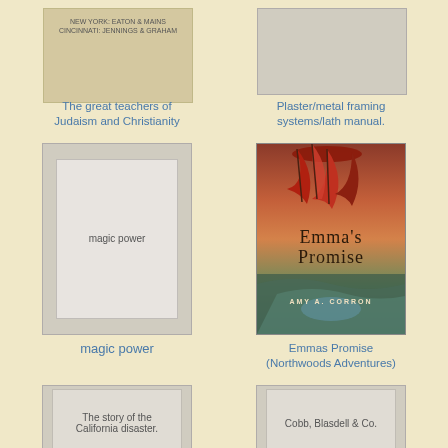[Figure (illustration): Book cover thumbnail for 'The great teachers of Judaism and Christianity' - beige/tan cover with publisher text]
The great teachers of Judaism and Christianity
[Figure (illustration): Gray placeholder book cover for 'Plaster/metal framing systems/lath manual']
Plaster/metal framing systems/lath manual.
[Figure (illustration): Gray placeholder book cover with inner border and text 'magic power']
magic power
[Figure (illustration): Book cover for Emma's Promise (Northwoods Adventures) by Amy A. Corron - autumn scene with red maple leaves and river]
Emmas Promise (Northwoods Adventures)
[Figure (illustration): Gray placeholder book cover with inner border, text 'The story of the California disaster.']
The story of the California disaster.
[Figure (illustration): Gray placeholder book cover with inner border, text 'Cobb, Blasdell & Co.']
Cobb, Blasdell & Co.